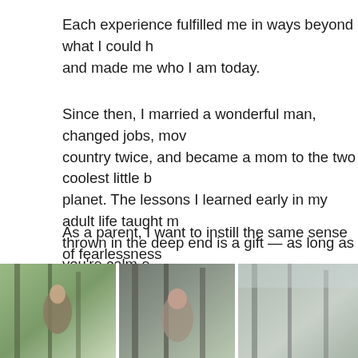Each experience fulfilled me in ways beyond what I could h… and made me who I am today.
Since then, I married a wonderful man, changed jobs, mov… country twice, and became a mom to the two coolest little b… planet. The lessons I learned early in my adult life taught m… thrown in the deep end is a gift — as long as you're calm e… breathe and take things step by step.
As a parent, I want to instill the same sense of fearlessness… That it's not about whether or not they succeed, but that the… try hard and take chances.
And that no matter what happens, they know they can alwa…
[Figure (photo): Three outdoor photos side by side showing people and trees in a natural setting]